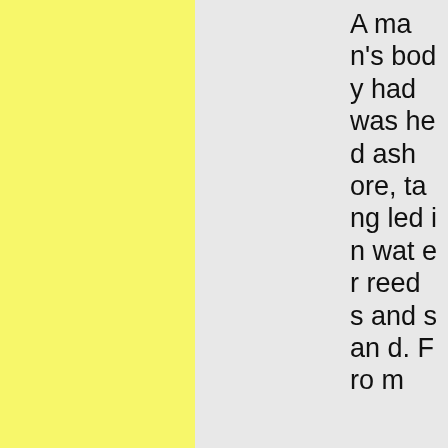[Figure (other): Yellow textured panel on the left side of the page]
[Figure (other): Gray panel on the right portion of the page]
A man's body had washed ashore, tangled in water reeds and sand. From